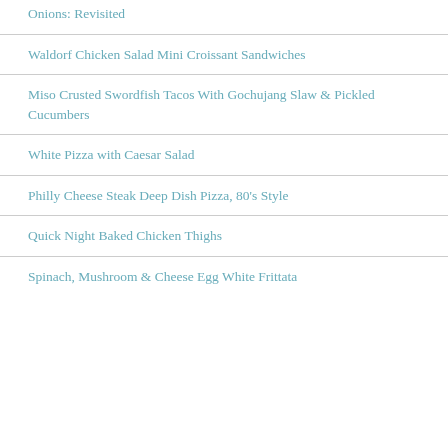Onions: Revisited
Waldorf Chicken Salad Mini Croissant Sandwiches
Miso Crusted Swordfish Tacos With Gochujang Slaw & Pickled Cucumbers
White Pizza with Caesar Salad
Philly Cheese Steak Deep Dish Pizza, 80's Style
Quick Night Baked Chicken Thighs
Spinach, Mushroom & Cheese Egg White Frittata